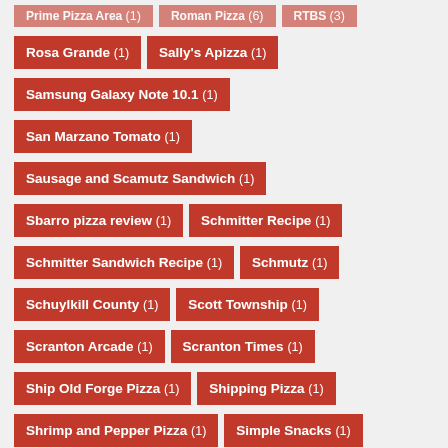Rosa Grande (1)
Sally's Apizza (1)
Samsung Galaxy Note 10.1 (1)
San Marzano Tomato (1)
Sausage and Scamutz Sandwich (1)
Sbarro pizza review (1)
Schmitter Recipe (1)
Schmitter Sandwich Recipe (1)
Schmutz (1)
Schuylkill County (1)
Scott Township (1)
Scranton Arcade (1)
Scranton Times (1)
Ship Old Forge Pizza (1)
Shipping Pizza (1)
Shrimp and Pepper Pizza (1)
Simple Snacks (1)
Simpson (1)
Skee-Ball (1)
Soupy Pizza (1)